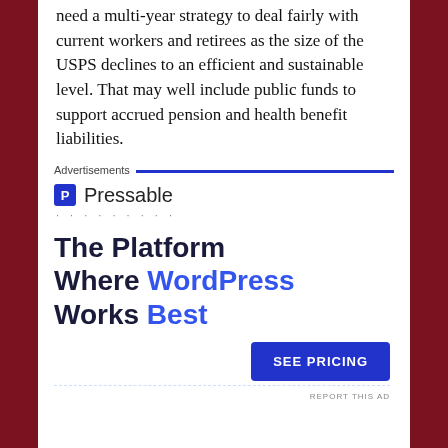need a multi-year strategy to deal fairly with current workers and retirees as the size of the USPS declines to an efficient and sustainable level. That may well include public funds to support accrued pension and health benefit liabilities.
Advertisements
[Figure (advertisement): Pressable advertisement showing logo, tagline 'The Platform Where WordPress Works Best' and a 'SEE PRICING' button]